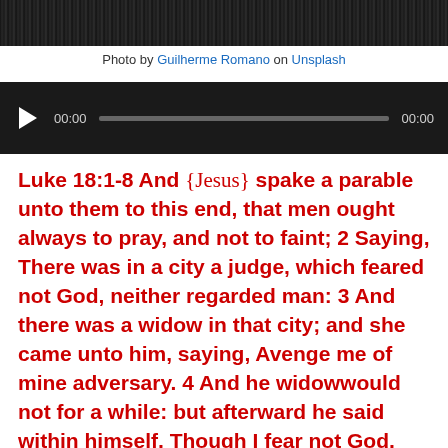[Figure (photo): Black and white photo strip at top of page, showing a dark scene]
Photo by Guilherme Romano on Unsplash
[Figure (screenshot): Audio player widget with dark background, play button, time display 00:00, progress bar, and end time 00:00]
Luke 18:1-8 And {Jesus} spake a parable unto them to this end, that men ought always to pray, and not to faint; 2 Saying, There was in a city a judge, which feared not God, neither regarded man: 3 And there was a widow in that city; and she came unto him, saying, Avenge me of mine adversary. 4 And he widowwould not for a while: but afterward he said within himself, Though I fear not God, nor regard man; 5 Yet because this widow troubleth me, I will avenge her, lest by her continual coming she weary